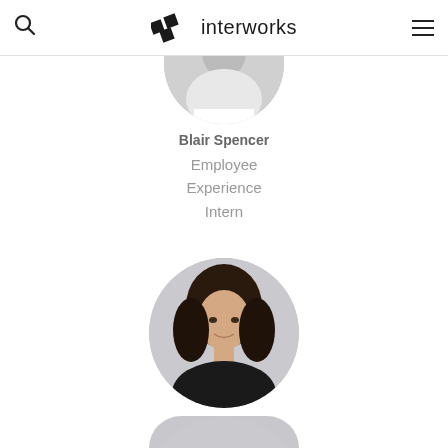interworks
[Figure (photo): Partial photo of Blair Spencer, cropped at top]
Blair Spencer
Employee Experience Intern
[Figure (photo): Circular headshot photo of Blythe Lyles, woman with dark curly hair, smiling, wearing dark jacket]
Blythe Lyles
AR/AP Clerk
[Figure (photo): Partial circular photo at bottom of page, person cut off]